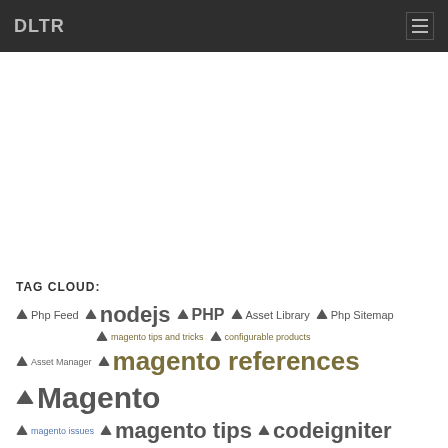DLTR
TAG CLOUD:
Php Feed  nodejs  PHP  Asset Library  Php Sitemap  magento tips and tricks  configurable products  Asset Manager  magento references  Magento  magento issues  magento tips  codeigniter